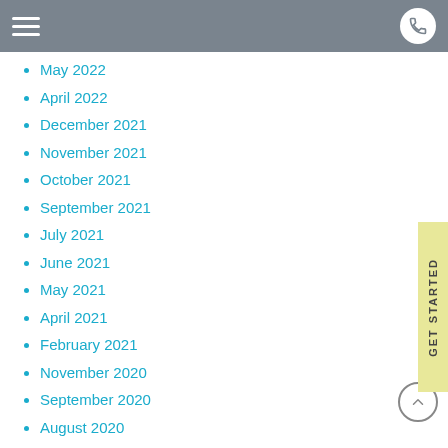Navigation header with hamburger menu and phone button
May 2022
April 2022
December 2021
November 2021
October 2021
September 2021
July 2021
June 2021
May 2021
April 2021
February 2021
November 2020
September 2020
August 2020
July 2020
May 2020
April 2020
March 2020
February 2020
January 2020